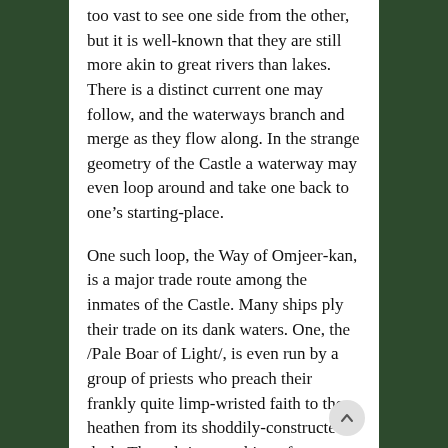too vast to see one side from the other, but it is well-known that they are still more akin to great rivers than lakes. There is a distinct current one may follow, and the waterways branch and merge as they flow along. In the strange geometry of the Castle a waterway may even loop around and take one back to one's starting-place.
One such loop, the Way of Omjeer-kan, is a major trade route among the inmates of the Castle. Many ships ply their trade on its dank waters. One, the /Pale Boar of Light/, is even run by a group of priests who preach their frankly quite limp-wristed faith to the heathen from its shoddily-constructed deck. The cult is something of a laughing-stock among most of the Castle's denizens, but having said that nobody is willing to venture inside the yellowish-white abbey they have